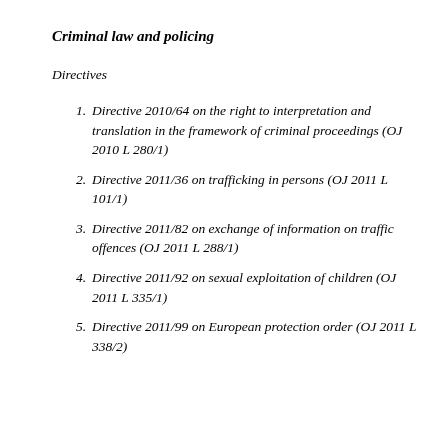Criminal law and policing
Directives
Directive 2010/64 on the right to interpretation and translation in the framework of criminal proceedings (OJ 2010 L 280/1)
Directive 2011/36 on trafficking in persons (OJ 2011 L 101/1)
Directive 2011/82 on exchange of information on traffic offences (OJ 2011 L 288/1)
Directive 2011/92 on sexual exploitation of children (OJ 2011 L 335/1)
Directive 2011/99 on European protection order (OJ 2011 L 338/2)